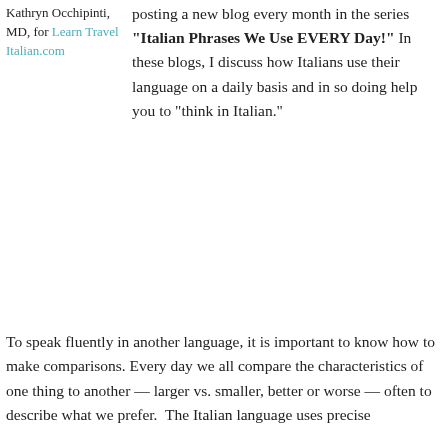Kathryn Occhipinti, MD, for Learn Travel Italian.com
posting a new blog every month in the series “Italian Phrases We Use EVERY Day!” In these blogs, I discuss how Italians use their language on a daily basis and in so doing help you to “think in Italian.”
To speak fluently in another language, it is important to know how to make comparisons. Every day we all compare the characteristics of one thing to another — larger vs. smaller, better or worse — often to describe what we prefer.  The Italian language uses precise
Privacy & Cookies: This site uses cookies. By continuing to use this website, you agree to their use.
To find out more, including how to control cookies, see here: Cookie Policy
Close and accept